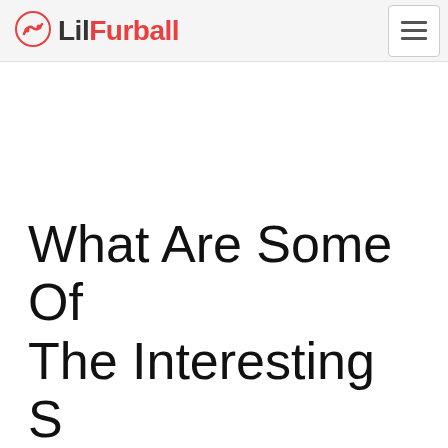Lil Furball
What Are Some Of The Interesting S…